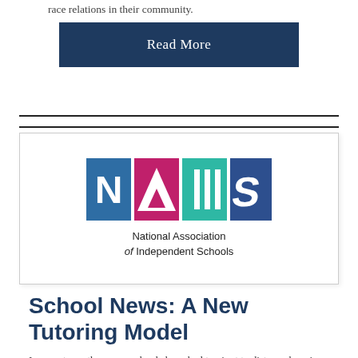race relations in their community.
[Figure (other): Read More button — dark navy rectangle with white text]
[Figure (logo): NAIS logo — four colored squares with letters N, A, I, S above text 'National Association of Independent Schools']
School News: A New Tutoring Model
In recent months, many schools have had to pivot to distance learning, a change that has exacerbated income inequities; some students without reliable Wi-Fi or a quiet space to work